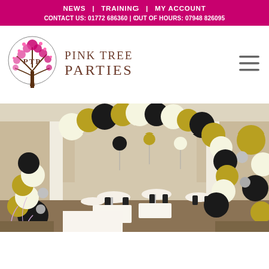NEWS | TRAINING | MY ACCOUNT
CONTACT US: 01772 686360 | OUT OF HOURS: 07948 826095
[Figure (logo): Pink Tree Parties logo with illustrated tree and brand name text]
[Figure (photo): Balloon arch made of black, gold, and cream/white balloons framing a doorway into a decorated banquet/event hall with round tables set with white tablecloths and black chairs]